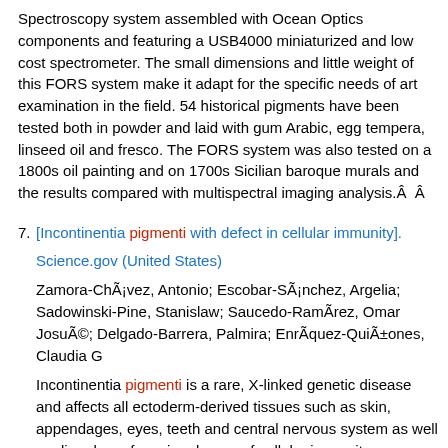Spectroscopy system assembled with Ocean Optics components and featuring a USB4000 miniaturized and low cost spectrometer. The small dimensions and little weight of this FORS system make it adapt for the specific needs of art examination in the field. 54 historical pigments have been tested both in powder and laid with gum Arabic, egg tempera, linseed oil and fresco. The FORS system was also tested on a 1800s oil painting and on 1700s Sicilian baroque murals and the results compared with multispectral imaging analysis.Â  Â
7. [Incontinentia pigmenti with defect in cellular immunity].
Science.gov (United States)
Zamora-ChÃ¡vez, Antonio; Escobar-SÃ¡nchez, Argelia; Sadowinski-Pine, Stanislaw; Saucedo-RamÃrez, Omar JosuÃ©; Delgado-Barrera, Palmira; EnrÃquez-QuiÃ±ones, Claudia G
Incontinentia pigmenti is a rare, X-linked genetic disease and affects all ectoderm-derived tissues such as skin, appendages, eyes, teeth and central nervous system as well as disorders of varying degree of cellular immunity characterized by decreasing melanin in the epidermis and increase in the dermis. When the